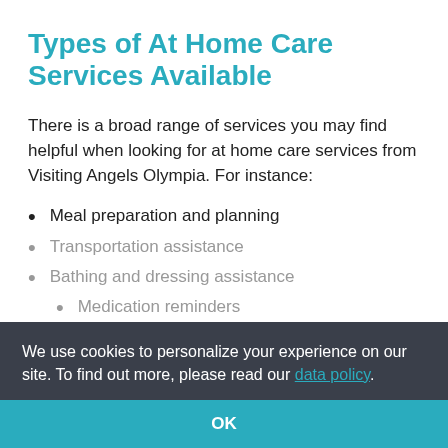Types of At Home Care Services Available
There is a broad range of services you may find helpful when looking for at home care services from Visiting Angels Olympia. For instance:
Meal preparation and planning
Transportation assistance
Bathing and dressing assistance
Medication reminders
Personal Hygiene
Many more...
We use cookies to personalize your experience on our site. To find out more, please read our data policy.